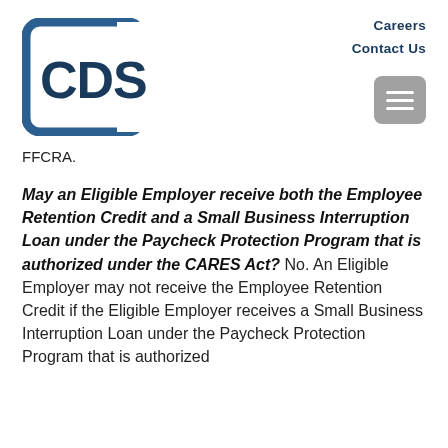[Figure (logo): CDS company logo — stylized square bracket shape in dark teal/blue with 'CDS' text inside]
Careers
Contact Us
FFCRA.
May an Eligible Employer receive both the Employee Retention Credit and a Small Business Interruption Loan under the Paycheck Protection Program that is authorized under the CARES Act? No. An Eligible Employer may not receive the Employee Retention Credit if the Eligible Employer receives a Small Business Interruption Loan under the Paycheck Protection Program that is authorized